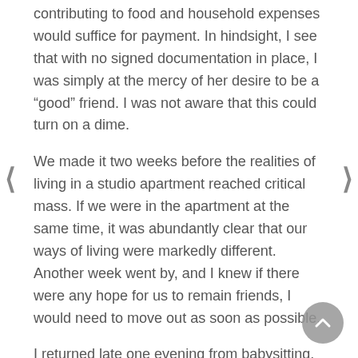contributing to food and household expenses would suffice for payment. In hindsight, I see that with no signed documentation in place, I was simply at the mercy of her desire to be a “good” friend. I was not aware that this could turn on a dime.
We made it two weeks before the realities of living in a studio apartment reached critical mass. If we were in the apartment at the same time, it was abundantly clear that our ways of living were markedly different. Another week went by, and I knew if there were any hope for us to remain friends, I would need to move out as soon as possible.
I returned late one evening from babysitting, and as soon as I walked in, she could not contain her rage. She laid bare how despicable she found it that I couldn’t contribute to the rent. She was perplexed as to why I didn’t just ask my parents for the money to